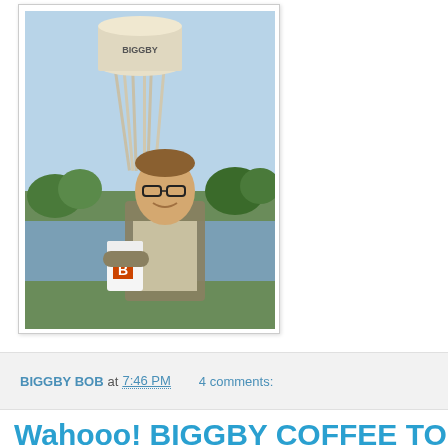[Figure (photo): Man holding a white BIGGBY COFFEE cup, standing outdoors in front of a large water tower with 'BIGGBY' written on it, near a body of water with trees in the background. Photo has a light blue sky.]
BIGGBY BOB at 7:46 PM    4 comments:
Wahooo! BIGGBY COFFEE TO OPEN